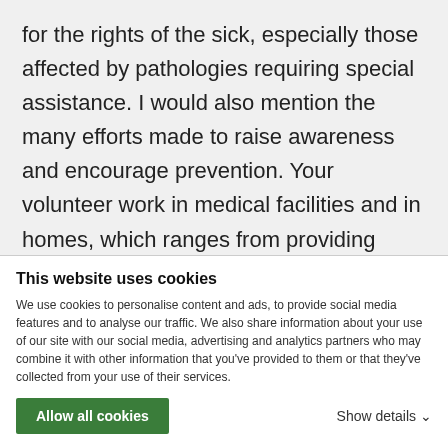for the rights of the sick, especially those affected by pathologies requiring special assistance. I would also mention the many efforts made to raise awareness and encourage prevention. Your volunteer work in medical facilities and in homes, which ranges from providing health care to offering spiritual support, is of primary importance. Countless persons who are ill, alone, elderly or frail in mind or body benefit from these services. I urge you to continue to be a sign of the Church's presence in a secularized world. A volunteer is a good friend with whom one can share personal thoughts and emotions; by their patient listening, volunteers make it possible for the sick to pass
This website uses cookies

We use cookies to personalise content and ads, to provide social media features and to analyse our traffic. We also share information about your use of our site with our social media, advertising and analytics partners who may combine it with other information that you've provided to them or that they've collected from your use of their services.